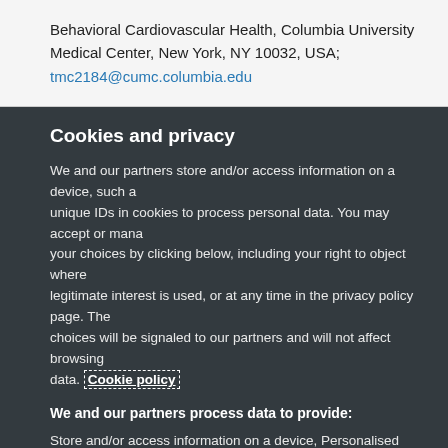Behavioral Cardiovascular Health, Columbia University Medical Center, New York, NY 10032, USA; tmc2184@cumc.columbia.edu
Cookies and privacy
We and our partners store and/or access information on a device, such as unique IDs in cookies to process personal data. You may accept or manage your choices by clicking below, including your right to object where legitimate interest is used, or at any time in the privacy policy page. These choices will be signaled to our partners and will not affect browsing data. Cookie policy
We and our partners process data to provide:
Store and/or access information on a device, Personalised ads and content, ad and content measurement, audience insights and product development, Use precise geolocation data, Actively scan device characteristics for identification
List of Partners (vendors)
I Accept